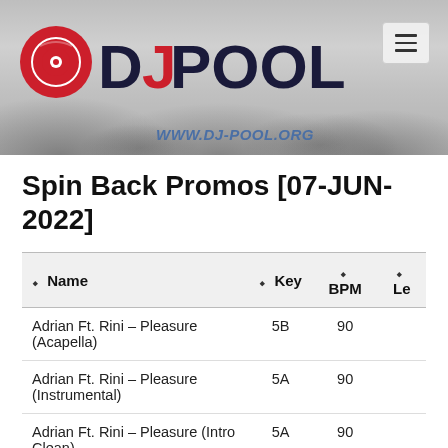DJ POOL — www.dj-pool.org
Spin Back Promos [07-JUN-2022]
| Name | Key | BPM | Le |
| --- | --- | --- | --- |
| Adrian Ft. Rini – Pleasure (Acapella) | 5B | 90 |  |
| Adrian Ft. Rini – Pleasure (Instrumental) | 5A | 90 |  |
| Adrian Ft. Rini – Pleasure (Intro Clean) | 5A | 90 |  |